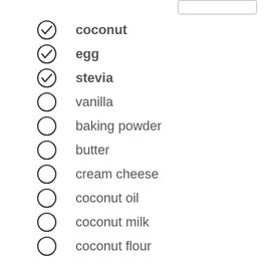coconut
egg
stevia
vanilla
baking powder
butter
cream cheese
coconut oil
coconut milk
coconut flour